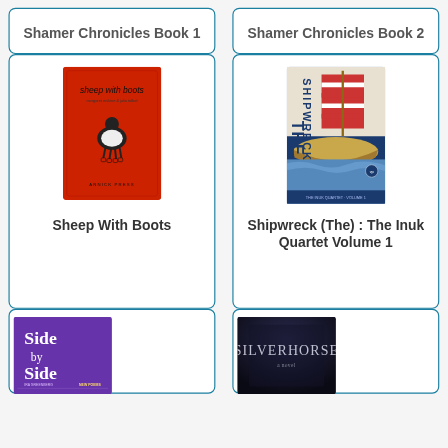Shamer Chronicles Book 1
Shamer Chronicles Book 2
[Figure (illustration): Red book cover titled 'sheep with boots' with a small illustrated figure]
Sheep With Boots
[Figure (illustration): Book cover for 'The Shipwreck: The Inuk Quartet Volume 1' showing a Viking ship with striped sail]
Shipwreck (The) : The Inuk Quartet Volume 1
[Figure (illustration): Purple book cover titled 'Side by Side' with subtitle 'New Poems']
[Figure (illustration): Dark book cover titled 'Silverhorse']